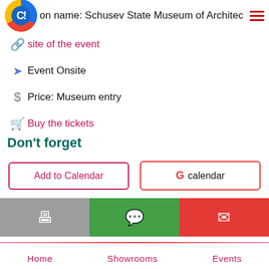on name: Schusev State Museum of Architec
site of the event
Event Onsite
Price: Museum entry
Buy the tickets
Don't forget
[Figure (screenshot): Add to Calendar button and Google Calendar button side by side]
[Figure (screenshot): Three share buttons: print (gray), WhatsApp (green), email (red)]
Home  Showrooms  Events